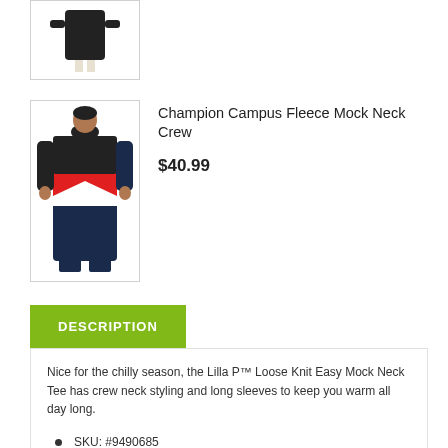[Figure (photo): Product thumbnail showing a figure wearing a black jacket, cropped at top]
[Figure (photo): Product image of Champion Campus Fleece Mock Neck Crew — colorblock red/white/black/navy]
Champion Campus Fleece Mock Neck Crew
$40.99
DESCRIPTION
Nice for the chilly season, the Lilla P™ Loose Knit Easy Mock Neck Tee has crew neck styling and long sleeves to keep you warm all day long.
SKU: #9490685
Crew neck styling.
Long sleeves.